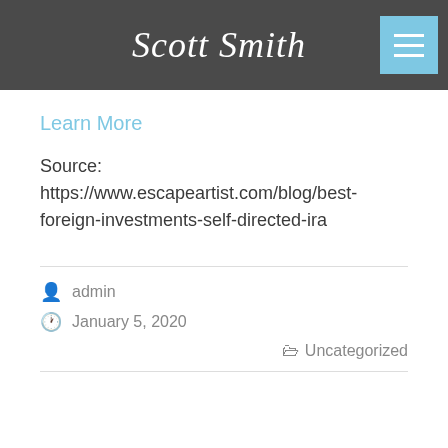Scott Smith
Learn More
Source: https://www.escapeartist.com/blog/best-foreign-investments-self-directed-ira
admin
January 5, 2020
Uncategorized